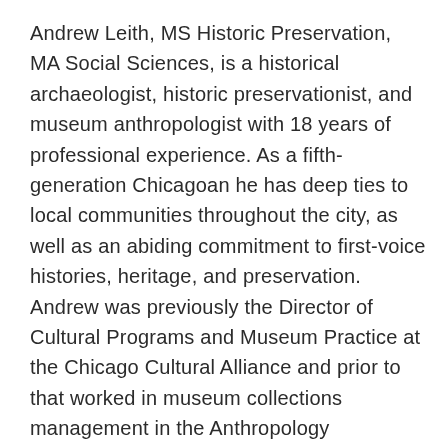Andrew Leith, MS Historic Preservation, MA Social Sciences, is a historical archaeologist, historic preservationist, and museum anthropologist with 18 years of professional experience. As a fifth-generation Chicagoan he has deep ties to local communities throughout the city, as well as an abiding commitment to first-voice histories, heritage, and preservation. Andrew was previously the Director of Cultural Programs and Museum Practice at the Chicago Cultural Alliance and prior to that worked in museum collections management in the Anthropology Department at the Field Museum. He has studied the interpretation and preservation of ruins, as well as researched grass roots preservation of the built environment at the Falmouth Heritage Renewal in Jamaica for US/ICOMOS. He is on the Board of Directors of the Camp Douglas Restoration